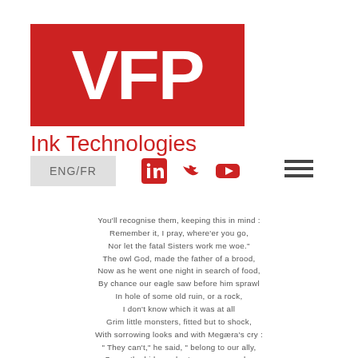[Figure (logo): VFP Ink Technologies logo with red background box containing white VFP text and red subtitle 'Ink Technologies']
[Figure (infographic): Hamburger menu icon (three horizontal lines) in dark grey on top right]
ENG/FR
[Figure (infographic): Social media icons: LinkedIn, Twitter, YouTube in red]
You'll recognise them, keeping this in mind :
Remember it, I pray, where'er you go,
Nor let the fatal Sisters work me woe."
The owl God, made the father of a brood,
Now as he went one night in search of food,
By chance our eagle saw before him sprawl
In hole of some old ruin, or a rock,
I don't know which it was at all
Grim little monsters, fitted but to shock,
With sorrowing looks and with Megæra's cry :
" They can't," he said, " belong to our ally,
So we the hideous brutes may scrunch ;
His meals, you know, are not a sober lunch."
The owl returned, and found but legs and wings
Of all his darlings, tender little things !
He wept, and called the gods to his relief,